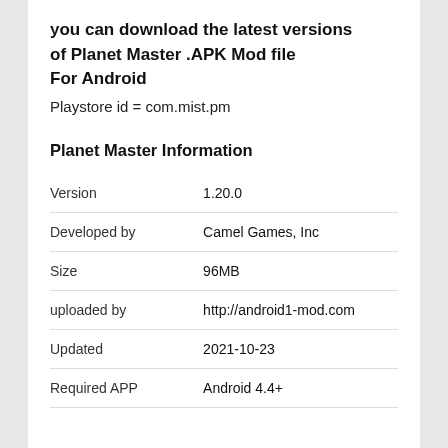you can download the latest versions of Planet Master .APK Mod file For Android
Playstore id = com.mist.pm
Planet Master Information
|  |  |
| --- | --- |
| Version | 1.20.0 |
| Developed by | Camel Games, Inc |
| Size | 96MB |
| uploaded by | http://android1-mod.com |
| Updated | 2021-10-23 |
| Required APP | Android 4.4+ |